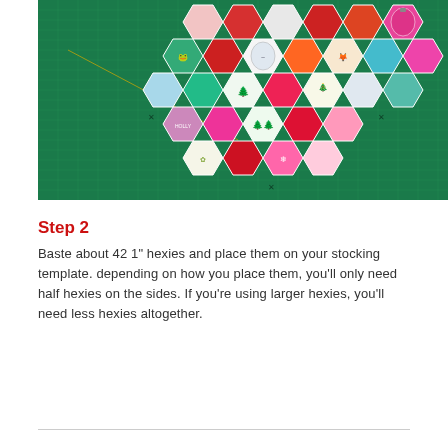[Figure (photo): A green cutting mat with colorful hexagon fabric pieces arranged in a stocking shape. The hexagons feature various Christmas-themed prints including ornaments, trees, animals, and text patterns in red, pink, teal, white, and green fabrics.]
Step 2
Baste about 42 1" hexies and place them on your stocking template. depending on how you place them, you'll only need half hexies on the sides. If you're using larger hexies, you'll need less hexies altogether.